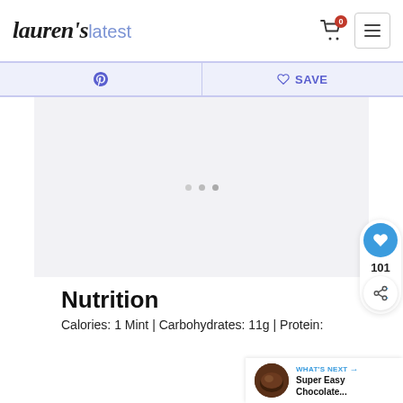Lauren's latest — website header with cart icon and menu button
[Figure (screenshot): Pinterest share button and SAVE button toolbar in light purple/lavender color]
[Figure (screenshot): Content area with loading dots placeholder, light gray background]
[Figure (screenshot): Floating blue heart button with count 101 and share button on right side]
[Figure (screenshot): WHAT'S NEXT banner with chocolate image and text: Super Easy Chocolate...]
Nutrition
Calories: 1 Mint | Carbohydrates: 11g | Protein: